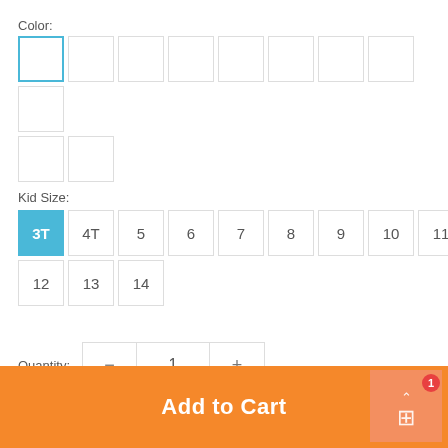Color:
[Figure (other): Color swatch selector with 11 white/empty swatches, first one selected with blue border, arranged in two rows]
Kid Size:
[Figure (other): Kid size selector buttons: 3T (selected, blue), 4T, 5, 6, 7, 8, 9, 10, 11 in first row; 12, 13, 14 in second row]
Quantity: 1
Add to Cart